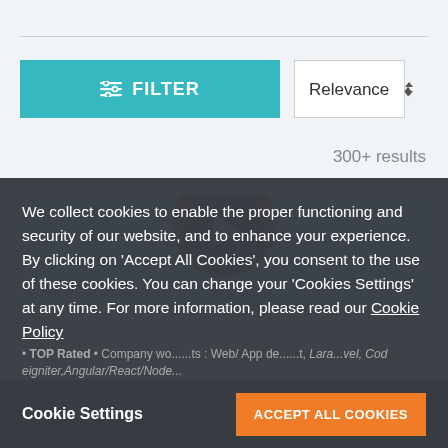[Figure (screenshot): Filter button (teal) and Relevance dropdown selector]
300+ results
[Figure (screenshot): Card area with circular red/orange logo with arrow icon]
We collect cookies to enable the proper functioning and security of our website, and to enhance your experience. By clicking on 'Accept All Cookies', you consent to the use of these cookies. You can change your 'Cookies Settings' at any time. For more information, please read our Cookie Policy
Cookie Settings
ACCEPT ALL COOKIES
• TOP Rated • Company wo... ...ts: Web/ App de... ...t, Lara... vel, Cod eigniter,Angular/React/Node...